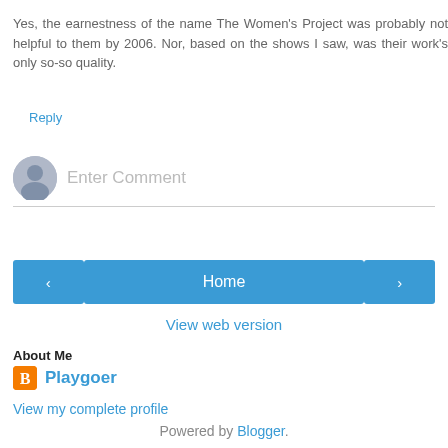Yes, the earnestness of the name The Women's Project was probably not helpful to them by 2006. Nor, based on the shows I saw, was their work's only so-so quality.
Reply
[Figure (other): Comment input area with avatar icon and placeholder text 'Enter Comment']
[Figure (other): Navigation buttons: left arrow, Home, right arrow]
View web version
About Me
Playgoer
View my complete profile
Powered by Blogger.